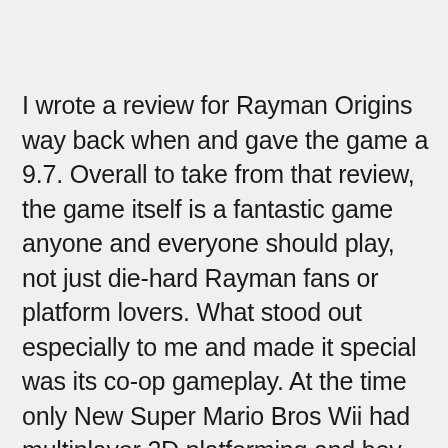I wrote a review for Rayman Origins way back when and gave the game a 9.7. Overall to take from that review, the game itself is a fantastic game anyone and everyone should play, not just die-hard Rayman fans or platform lovers. What stood out especially to me and made it special was its co-op gameplay. At the time only New Super Mario Bros Wii had multiplayer 2D platforming and boy was that...bad.  Rayman Origins co-op was a perfect blend of teamwork and a little bit of individual competition. I did about 75% of the game cooperative with my brother and there were